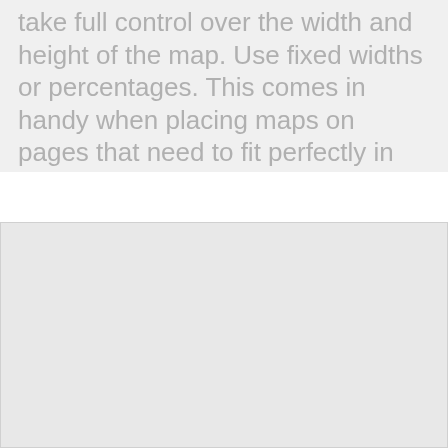take full control over the width and height of the map. Use fixed widths or percentages. This comes in handy when placing maps on pages that need to fit perfectly in unique layouts.
[Figure (screenshot): Google Maps error dialog box showing 'Esta página no puede cargar Google Maps correctamente.' with a link '¿Eres el propietario de este sitio web?' and an 'Aceptar' button, overlaid on a map background.]